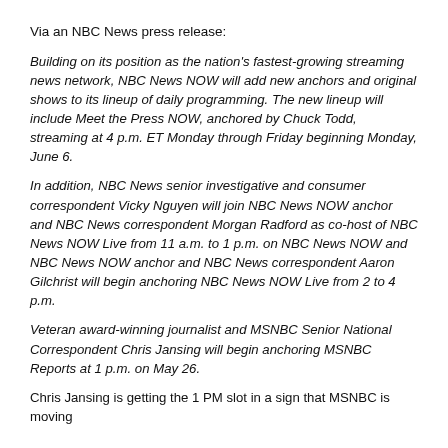Via an NBC News press release:
Building on its position as the nation's fastest-growing streaming news network, NBC News NOW will add new anchors and original shows to its lineup of daily programming. The new lineup will include Meet the Press NOW, anchored by Chuck Todd, streaming at 4 p.m. ET Monday through Friday beginning Monday, June 6.
In addition, NBC News senior investigative and consumer correspondent Vicky Nguyen will join NBC News NOW anchor and NBC News correspondent Morgan Radford as co-host of NBC News NOW Live from 11 a.m. to 1 p.m. on NBC News NOW and NBC News NOW anchor and NBC News correspondent Aaron Gilchrist will begin anchoring NBC News NOW Live from 2 to 4 p.m.
Veteran award-winning journalist and MSNBC Senior National Correspondent Chris Jansing will begin anchoring MSNBC Reports at 1 p.m. on May 26.
Chris Jansing is getting the 1 PM slot in a sign that MSNBC is moving